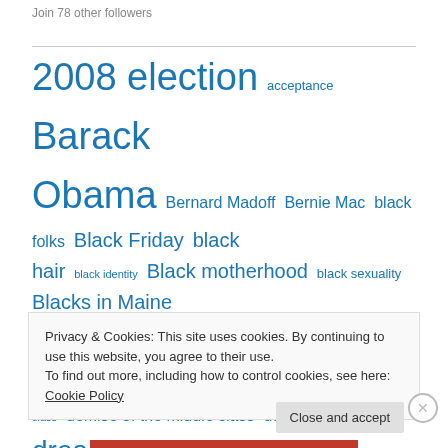Join 78 other followers
[Figure (infographic): Tag cloud with various blog topic tags in different sizes, all in blue. Tags include: 2008 election, acceptance, Barack Obama, Bernard Madoff, Bernie Mac, black folks, Black Friday, black hair, black identity, Black motherhood, black sexuality, Blacks in Maine, black women, black women and hair, car woes, christianity, class, demise of the middle class, domestic violence, dreadlocks, dying computer, economic downturn, Evangelical Christians, Facebook]
Privacy & Cookies: This site uses cookies. By continuing to use this website, you agree to their use.
To find out more, including how to control cookies, see here: Cookie Policy